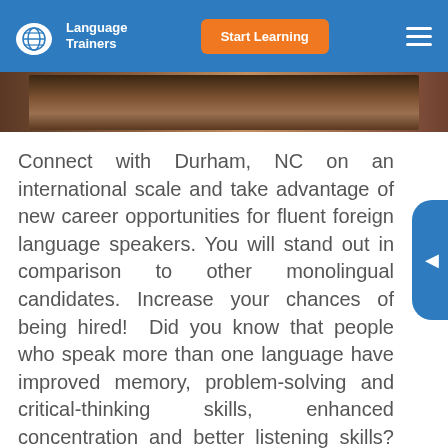Language Trainers | Start Learning
[Figure (photo): Partial photograph visible at top of page, showing a street or market scene]
Connect with Durham, NC on an international scale and take advantage of new career opportunities for fluent foreign language speakers. You will stand out in comparison to other monolingual candidates. Increase your chances of being hired! Did you know that people who speak more than one language have improved memory, problem-solving and critical-thinking skills, enhanced concentration and better listening skills? Whether you want to acquire a foreign language for work, travel or personal reasons, Language Trainers can help you accomplish your goal. Receive a tailor-made lesson plan, designed by one of